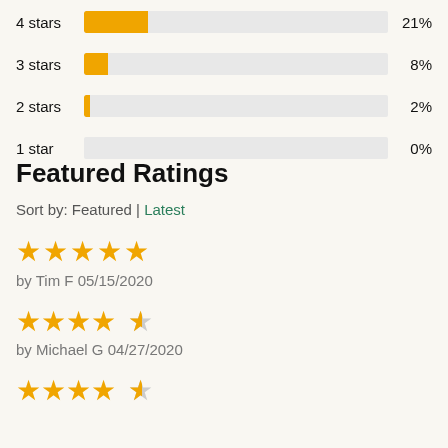[Figure (bar-chart): Star Rating Distribution]
Featured Ratings
Sort by: Featured | Latest
[Figure (infographic): 5-star rating (5 gold stars) by Tim F 05/15/2020]
by Tim F 05/15/2020
[Figure (infographic): 4.5-star rating (4 gold stars + half star) by Michael G 04/27/2020]
by Michael G 04/27/2020
[Figure (infographic): 4.5-star rating (4 gold stars + half star)]